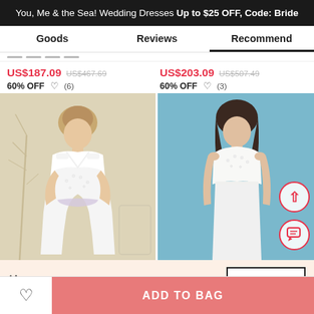You, Me & the Sea! Wedding Dresses Up to $25 OFF, Code: Bride
Goods | Reviews | Recommend
US$187.09  US$467.69  60% OFF  (6)
US$203.09  US$507.49  60% OFF  (3)
[Figure (photo): Model wearing a white lace mermaid wedding dress with embellished belt, standing in front of a decorative branch backdrop]
[Figure (photo): Model wearing a white sleeveless lace-top wedding dress against a blue background]
Get $5 off for your first order!
CLAIM NOW
ADD TO BAG